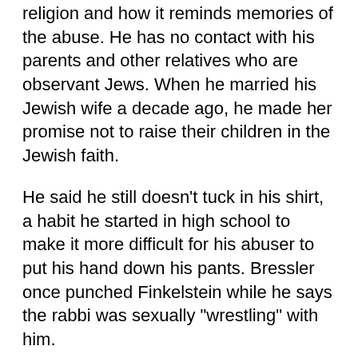religion and how it reminds memories of the abuse. He has no contact with his parents and other relatives who are observant Jews. When he married his Jewish wife a decade ago, he made her promise not to raise their children in the Jewish faith.
He said he still doesn't tuck in his shirt, a habit he started in high school to make it more difficult for his abuser to put his hand down his pants. Bressler once punched Finkelstein while he says the rabbi was sexually "wrestling" with him.
Now there are days he can't bear being on a crowded subway because "I can't stand being touched by people."
"So you don't even realize what the long-term impact is," said Bressler, a father of two.